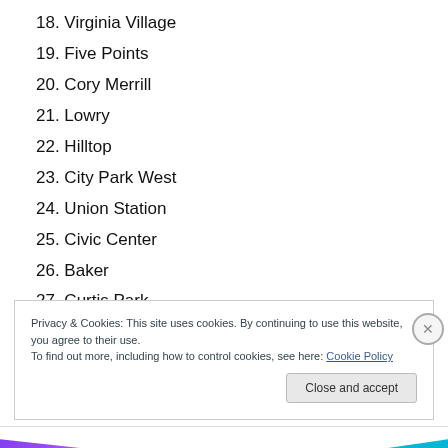18. Virginia Village
19. Five Points
20. Cory Merrill
21. Lowry
22. Hilltop
23. City Park West
24. Union Station
25. Civic Center
26. Baker
27. Curtis Park
28. Chaffee Park
Privacy & Cookies: This site uses cookies. By continuing to use this website, you agree to their use. To find out more, including how to control cookies, see here: Cookie Policy
Close and accept